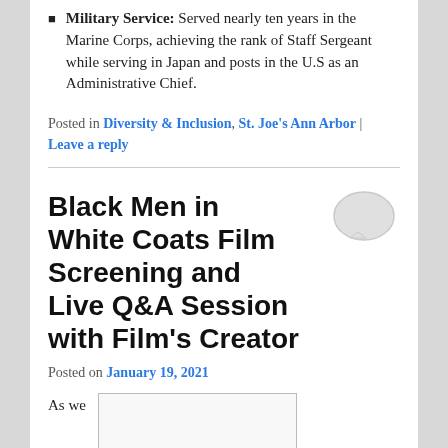Military Service: Served nearly ten years in the Marine Corps, achieving the rank of Staff Sergeant while serving in Japan and posts in the U.S as an Administrative Chief.
Posted in Diversity & Inclusion, St. Joe's Ann Arbor | Leave a reply
Black Men in White Coats Film Screening and Live Q&A Session with Film's Creator
Posted on January 19, 2021
As we